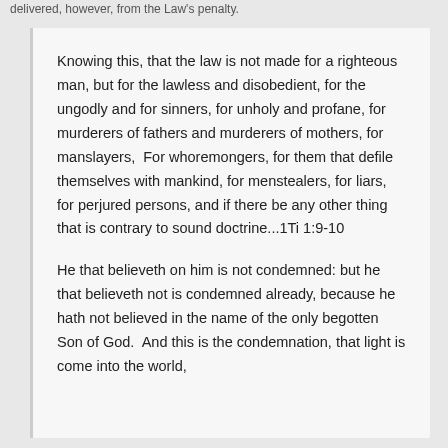delivered, however, from the Law's penalty.
Knowing this, that the law is not made for a righteous man, but for the lawless and disobedient, for the ungodly and for sinners, for unholy and profane, for murderers of fathers and murderers of mothers, for manslayers,  For whoremongers, for them that defile themselves with mankind, for menstealers, for liars, for perjured persons, and if there be any other thing that is contrary to sound doctrine...1Ti 1:9-10
He that believeth on him is not condemned: but he that believeth not is condemned already, because he hath not believed in the name of the only begotten Son of God.  And this is the condemnation, that light is come into the world,